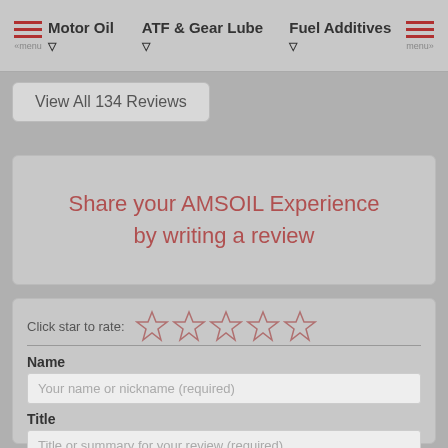Motor Oil  ATF & Gear Lube  Fuel Additives
View All 134 Reviews
Share your AMSOIL Experience by writing a review
Click star to rate:
Name
Your name or nickname (required)
Title
Title or summary for your review (required)
Comment